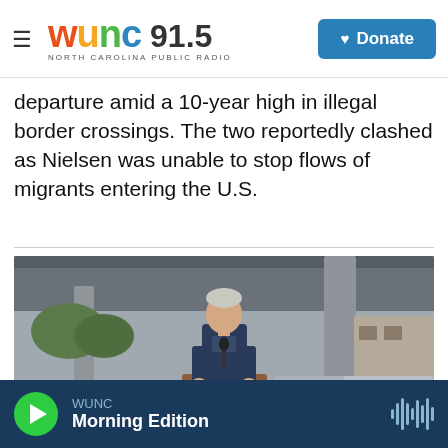WUNC 91.5 NORTH CAROLINA PUBLIC RADIO — Donate
departure amid a 10-year high in illegal border crossings. The two reportedly clashed as Nielsen was unable to stop flows of migrants entering the U.S.
[Figure (photo): A man in a dark jacket stands at a U.S. Department of Homeland Security podium outdoors, with vehicles in the background.]
WUNC Morning Edition